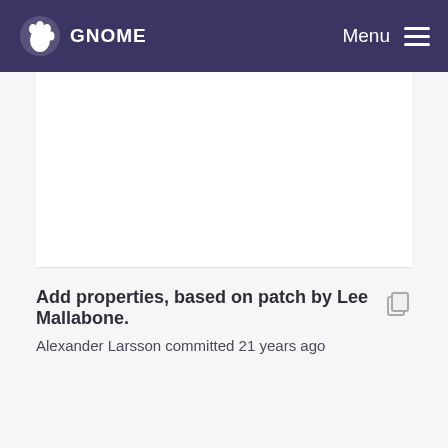GNOME  Menu
Add properties, based on patch by Lee Mallabone.
Alexander Larsson committed 21 years ago